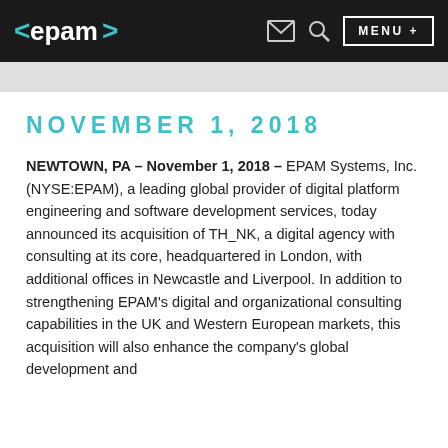epam | MENU +
NOVEMBER 1, 2018
NEWTOWN, PA – November 1, 2018 – EPAM Systems, Inc. (NYSE:EPAM), a leading global provider of digital platform engineering and software development services, today announced its acquisition of TH_NK, a digital agency with consulting at its core, headquartered in London, with additional offices in Newcastle and Liverpool. In addition to strengthening EPAM's digital and organizational consulting capabilities in the UK and Western European markets, this acquisition will also enhance the company's global development and